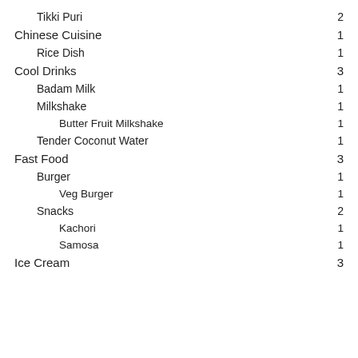Tikki Puri  2
Chinese Cuisine  1
Rice Dish  1
Cool Drinks  3
Badam Milk  1
Milkshake  1
Butter Fruit Milkshake  1
Tender Coconut Water  1
Fast Food  3
Burger  1
Veg Burger  1
Snacks  2
Kachori  1
Samosa  1
Ice Cream  3